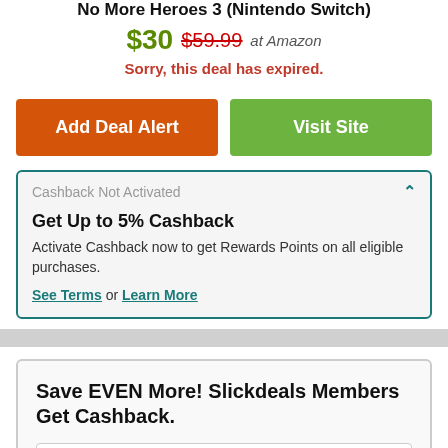No More Heroes 3 (Nintendo Switch)
$30  $59.99  at Amazon
Sorry, this deal has expired.
Add Deal Alert
Visit Site
Cashback Not Activated
Get Up to 5% Cashback
Activate Cashback now to get Rewards Points on all eligible purchases.
See Terms or Learn More
Save EVEN More! Slickdeals Members Get Cashback.
Enter your email address